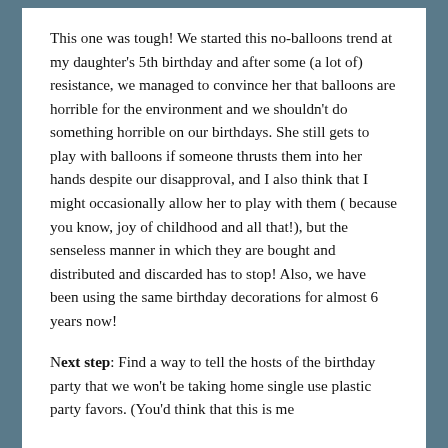This one was tough! We started this no-balloons trend at my daughter's 5th birthday and after some (a lot of) resistance, we managed to convince her that balloons are horrible for the environment and we shouldn't do something horrible on our birthdays. She still gets to play with balloons if someone thrusts them into her hands despite our disapproval, and I also think that I might occasionally allow her to play with them ( because you know, joy of childhood and all that!), but the senseless manner in which they are bought and distributed and discarded has to stop! Also, we have been using the same birthday decorations for almost 6 years now!
Next step: Find a way to tell the hosts of the birthday party that we won't be taking home single use plastic party favors. (You'd think that this is me